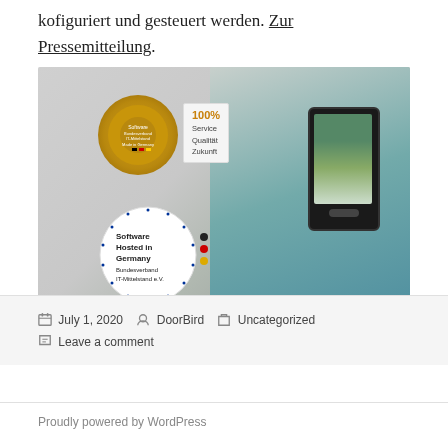kofiguriert und gesteuert werden. Zur Pressemitteilung.
[Figure (photo): Photo showing a person holding a smartphone displaying a doorbell camera app, alongside two certification badges: 'Software Bundesverband IT-Mittelstand Made in Germany - 100% Service Qualität Zukunft' and 'Software Hosted in Germany Bundesverband IT-Mittelstand e.V.']
July 1, 2020  DoorBird  Uncategorized  Leave a comment
Proudly powered by WordPress